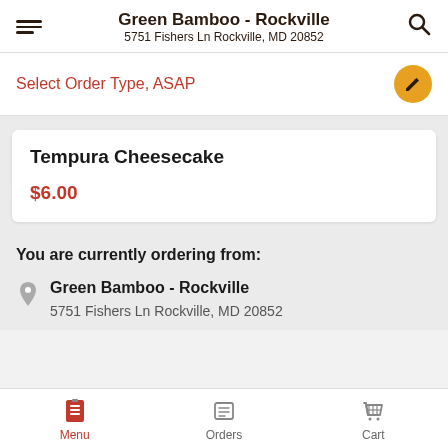Green Bamboo - Rockville
5751 Fishers Ln Rockville, MD 20852
Select Order Type, ASAP
Tempura Cheesecake
$6.00
You are currently ordering from:
Green Bamboo - Rockville
5751 Fishers Ln Rockville, MD 20852
Menu   Orders   Cart